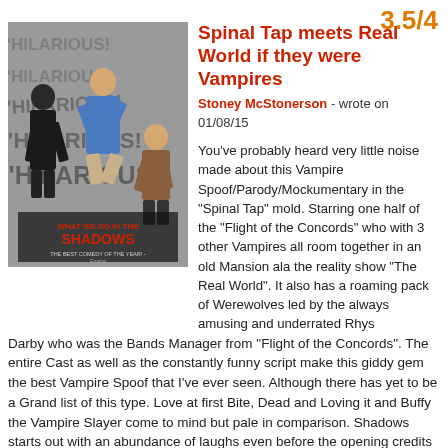3.5/4
Spinal Tap meets Real World if they were Vampires
Stoney McStonerson - wrote on 01/08/15
[Figure (photo): Movie poster for 'What We Do in the Shadows' showing three vampire characters jumping/posing with the text HILARIOUS! repeated in the background]
You've probably heard very little noise made about this Vampire Spoof/Parody/Mockumentary in the "Spinal Tap" mold. Starring one half of the "Flight of the Concords" who with 3 other Vampires all room together in an old Mansion ala the reality show "The Real World". It also has a roaming pack of Werewolves led by the always amusing and underrated Rhys Darby who was the Bands Manager from "Flight of the Concords". The entire Cast as well as the constantly funny script make this giddy gem the best Vampire Spoof that I've ever seen. Although there has yet to be a Grand list of this type. Love at first Bite, Dead and Loving it and Buffy the Vampire Slayer come to mind but pale in comparison. Shadows starts out with an abundance of laughs even before the opening credits start to roll as we begin to learn of each Vampire's story done as a Documentary. It doesn't sustain that level of laughs for the entire film as the Documentary Team follows the Roomies around showing their every day wants, needs and issues that arise from being one of the undead but it has many laugh out loud moments along with just as many scenes that will cause you to chuckle and smile. I just like the whole vibe and flow of this film and actually was left wanting more from these very odd but entertainingly funny characters.